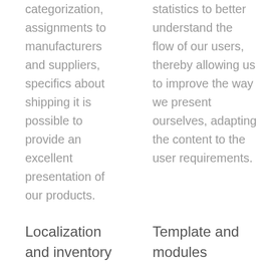categorization, assignments to manufacturers and suppliers, specifics about shipping it is possible to provide an excellent presentation of our products.
statistics to better understand the flow of our users, thereby allowing us to improve the way we present ourselves, adapting the content to the user requirements.
Localization and inventory
Template and modules